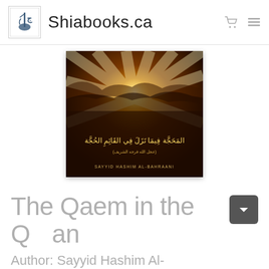Shiabooks.ca
[Figure (photo): Book cover image showing dramatic sunlight rays breaking through dark clouds with Arabic title text and author name SAYYID HASHIM AL-BAHRAANI]
The Qaem in the Quran
Author: Sayyid Hashim Al-